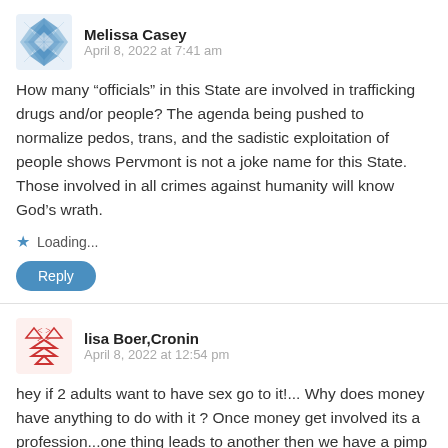[Figure (illustration): Blue diamond/geometric pattern avatar for Melissa Casey]
Melissa Casey
April 8, 2022 at 7:41 am
How many “officials” in this State are involved in trafficking drugs and/or people? The agenda being pushed to normalize pedos, trans, and the sadistic exploitation of people shows Pervmont is not a joke name for this State. Those involved in all crimes against humanity will know God’s wrath.
Loading...
Reply
[Figure (illustration): Red/orange arrow pattern avatar for lisa Boer,Cronin]
lisa Boer,Cronin
April 8, 2022 at 12:54 pm
hey if 2 adults want to have sex go to it!... Why does money have anything to do with it ? Once money get involved its a profession...one thing leads to another then we have a pimp involved.." their boss/ manager...see where I,m going here ? Most women can find other things to do with her time...if a